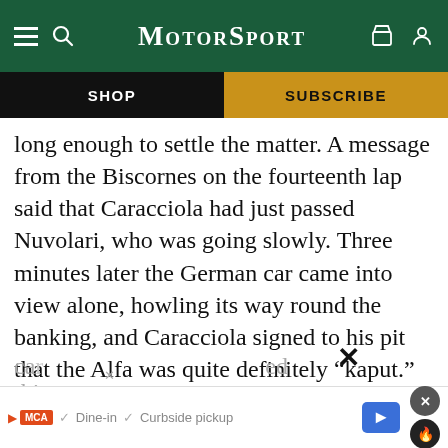MotorSport
SHOP | SUBSCRIBE
long enough to settle the matter. A message from the Biscornes on the fourteenth lap said that Caracciola had just passed Nuvolari, who was going slowly. Three minutes later the German car came into view alone, howling its way round the banking, and Caracciola signed to his pit that the Alfa was quite definitely “kaput.” Nuvolari appeared a few minutes later, and stopped at the pits, and the back wheels were jacked up. There was a moment of agitated talk between jano and Nuvolari, and then the car... thi...